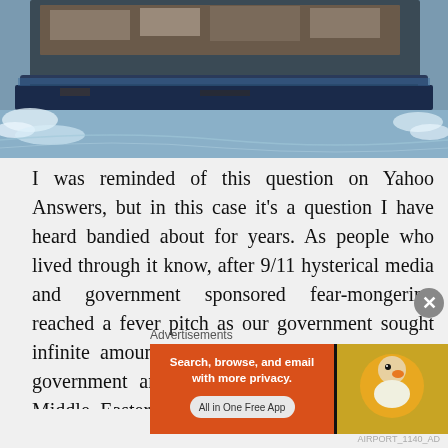[Figure (photo): A crowded boat on water with people aboard, viewed from above showing the bow cutting through water creating a wake. The boat appears dark/blue colored.]
I was reminded of this question on Yahoo Answers, but in this case it's a question I have heard bandied about for years. As people who lived through it know, after 9/11 hysterical media and government sponsored fear-mongering reached a fever pitch as our government sought infinite amounts of money to both expand the government and give carte Blanche to Bush's Middle Eastern adventures, all in the name of protecting us against the hordes of Jihadi terrorists that were no doubt
Advertisements
[Figure (screenshot): DuckDuckGo advertisement banner: orange left panel reading 'Search, browse, and email with more privacy. All in One Free App', separated by dark divider from gold/yellow right panel showing DuckDuckGo duck logo icon.]